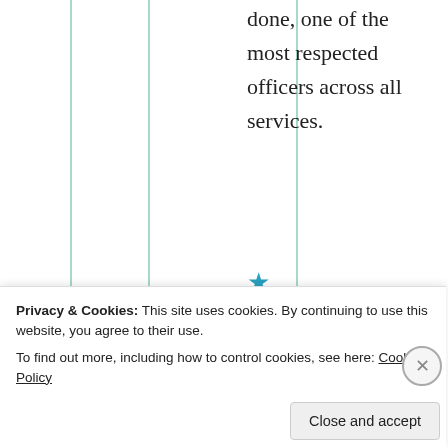done, one of the most respected officers across all services.
[Figure (other): Star icon (blue/teal) followed by 'Liked by 1 person' text with '1 person' as a link]
[Figure (photo): Partial avatar/profile photo of a person with grey hair, next to bold text 'In']
Privacy & Cookies: This site uses cookies. By continuing to use this website, you agree to their use.
To find out more, including how to control cookies, see here: Cookie Policy
Close and accept